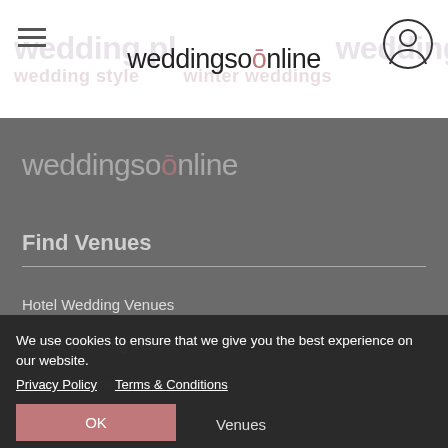weddingsonline
[Figure (logo): weddingsonline logo with ring over the 'o' in footer area]
Find Venues
Hotel Wedding Venues
Castle Wedding Venues
We use cookies to ensure that we give you the best experience on our website.
Privacy Policy   Terms & Conditions
OK